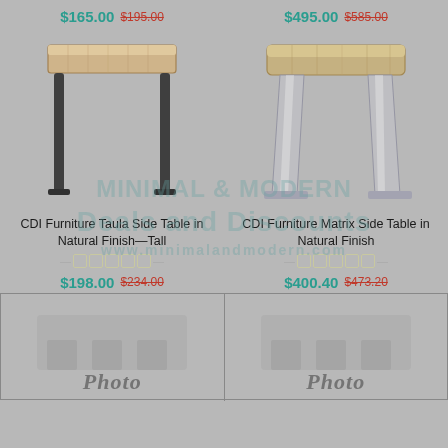$165.00 $195.00
$495.00 $585.00
[Figure (photo): CDI Furniture Taula Side Table in Natural Finish—Tall, wooden top with black metal legs]
[Figure (photo): CDI Furniture Matrix Side Table in Natural Finish, wooden top with chrome/silver curved legs]
CDI Furniture Taula Side Table in Natural Finish—Tall
CDI Furniture Matrix Side Table in Natural Finish
$198.00 $234.00
$400.40 $473.20
[Figure (photo): Photo placeholder bottom left]
[Figure (photo): Photo placeholder bottom right]